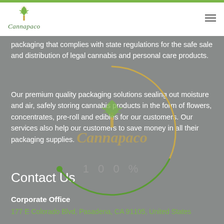Cannapaco
packaging that complies with state regulations for the safe sale and distribution of legal cannabis and personal care products.
Our premium quality packaging solutions sealing out moisture and air, safely storing cannabis products in the form of flowers, concentrates, pre-roll and edibles for our customers. Our services also help our customers to save money in all their packaging supplies.
[Figure (logo): Cannapaco watermark logo with cannabis leaf icon and circular ring, overlaid on the content area]
Contact Us
Corporate Office
177 E Colorado Blvd, Pasadena, CA 91105, United States